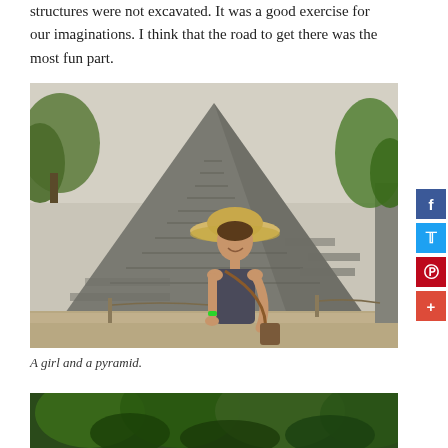structures were not excavated. It was a good exercise for our imaginations. I think that the road to get there was the most fun part.
[Figure (photo): A woman in a straw hat and sleeveless top standing in front of a large ancient Mayan pyramid, smiling at the camera. The pyramid is made of stone and rises steeply behind her. Trees are visible on the sides.]
A girl and a pyramid.
[Figure (photo): Bottom portion of another photo showing lush green jungle vegetation.]